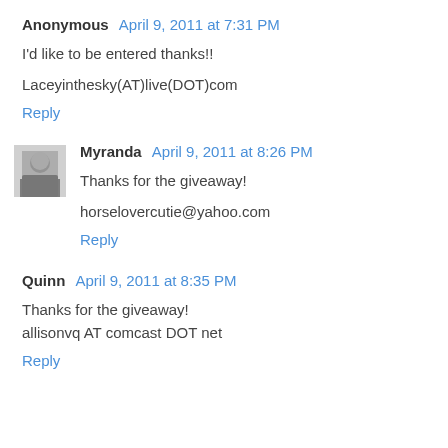Anonymous April 9, 2011 at 7:31 PM
I'd like to be entered thanks!!
Laceyinthesky(AT)live(DOT)com
Reply
[Figure (photo): Small avatar photo of Myranda, black and white portrait]
Myranda April 9, 2011 at 8:26 PM
Thanks for the giveaway!
horselovercutie@yahoo.com
Reply
Quinn April 9, 2011 at 8:35 PM
Thanks for the giveaway! allisonvq AT comcast DOT net
Reply